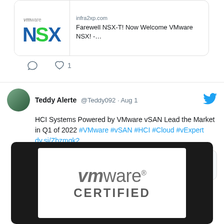[Figure (screenshot): Twitter/social media screenshot showing NSX link preview card with VMware NSX logo and title 'Farewell NSX-T! Now Welcome VMware NSX! -...' from infra2xp.com, with 1 like shown below]
Teddy Alerte @Teddy092 · Aug 1 — HCI Systems Powered by VMware vSAN Lead the Market in Q1 of 2022 #VMware #vSAN #HCI #Cloud #vExpert dy.si/Zbzmqk2
[Figure (screenshot): VMware Certified logo on a black background — white card with 'vmware' and 'CERTIFIED' in large letters]